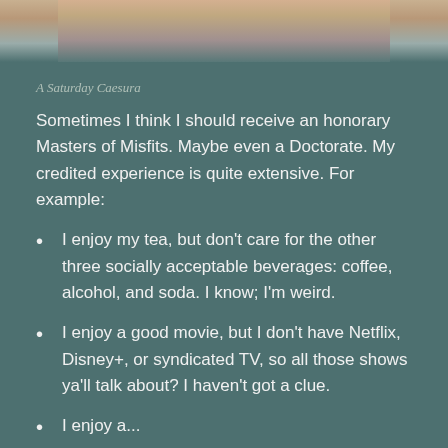[Figure (photo): Partial photo of a person, cropped at top of page, showing lower face/neck area against a dark knit fabric background]
A Saturday Caesura
Sometimes I think I should receive an honorary Masters of Misfits. Maybe even a Doctorate. My credited experience is quite extensive. For example:
I enjoy my tea, but don't care for the other three socially acceptable beverages: coffee, alcohol, and soda. I know; I'm weird.
I enjoy a good movie, but I don't have Netflix, Disney+, or syndicated TV, so all those shows ya'll talk about? I haven't got a clue.
I enjoy a...